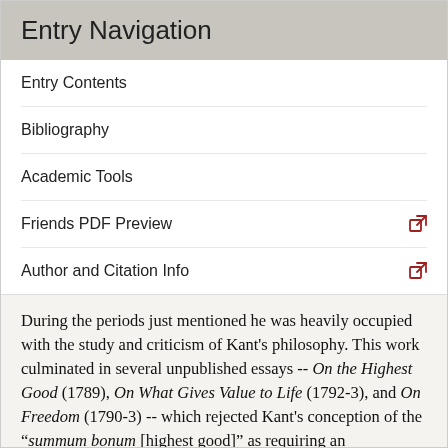Entry Navigation
Entry Contents
Bibliography
Academic Tools
Friends PDF Preview
Author and Citation Info
During the periods just mentioned he was heavily occupied with the study and criticism of Kant's philosophy. This work culminated in several unpublished essays -- On the Highest Good (1789), On What Gives Value to Life (1792-3), and On Freedom (1790-3) -- which rejected Kant's conception of the “summum bonum [highest good]” as requiring an apportioning of happiness to moral desert, rejected Kant's connected doctrine of the “postulates” of an afterlife of the soul and God, and developed an anti-Kantian theory of the thoroughgoing causal determination of human action but of the